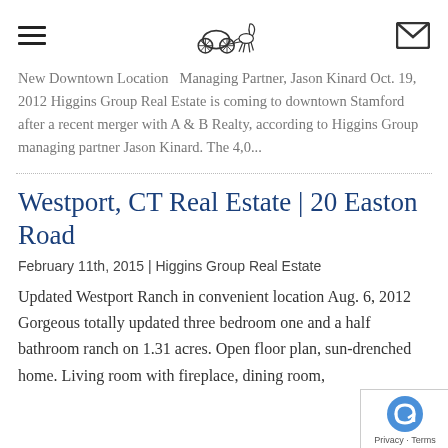[hamburger menu] [horse carriage logo] [envelope icon]
New Downtown Location  Managing Partner, Jason Kinard Oct. 19, 2012 Higgins Group Real Estate is coming to downtown Stamford after a recent merger with A & B Realty, according to Higgins Group managing partner Jason Kinard. The 4,0...
Westport, CT Real Estate | 20 Easton Road
February 11th, 2015 | Higgins Group Real Estate
Updated Westport Ranch in convenient location Aug. 6, 2012 Gorgeous totally updated three bedroom one and a half bathroom ranch on 1.31 acres. Open floor plan, sun-drenched home. Living room with fireplace, dining room,